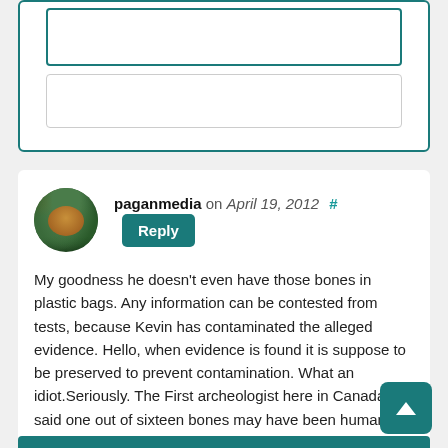[Figure (screenshot): Partially visible web form card with teal border at the top of the page]
paganmedia on April 19, 2012 # Reply
My goodness he doesn't even have those bones in plastic bags. Any information can be contested from tests, because Kevin has contaminated the alleged evidence. Hello, when evidence is found it is suppose to be preserved to prevent contamination. What an idiot.Seriously. The First archeologist here in Canada said one out of sixteen bones may have been human. Without it being sent for forensics Kevin Annett is announcing that two bones are human. Yet he didn't have the presence of mind to preserve the bones for testing. Again an idiot.